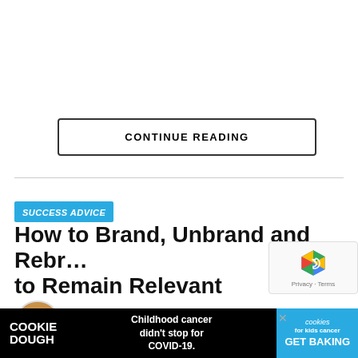CONTINUE READING
SUCCESS ADVICE
How to Brand, Unbrand and Rebrand to Remain Relevant
Published 2 weeks ago on Aug 13, 2022
By M.S. Rao
[Figure (infographic): Cookie Dough advertisement banner: 'COOKIE DOUGH — Childhood cancer didn't stop for COVID-19. — cookies for kids cancer GET BAKING']